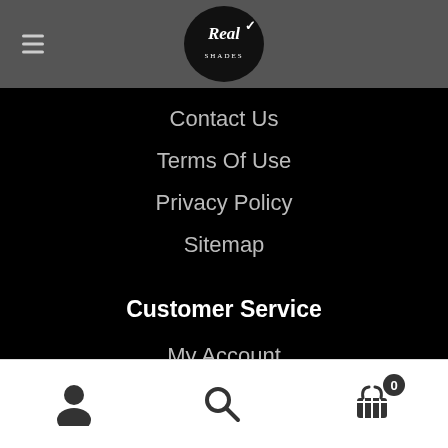[Figure (logo): Real Shades logo — white script text on black oval with checkmark, set in grey header bar with hamburger menu icon]
Contact Us
Terms Of Use
Privacy Policy
Sitemap
Customer Service
My Account
Returns & Exchanges
[Figure (screenshot): Bottom navigation bar with user icon, search icon, and cart icon with badge showing 0]